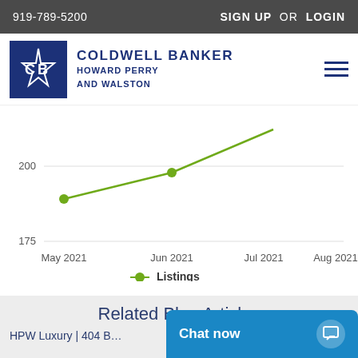919-789-5200   SIGN UP OR LOGIN
[Figure (logo): Coldwell Banker Howard Perry and Walston logo with CB monogram in dark blue square]
COLDWELL BANKER HOWARD PERRY AND WALSTON
[Figure (line-chart): Listings]
Related Blog Articles
HPW Luxury | 404 B…